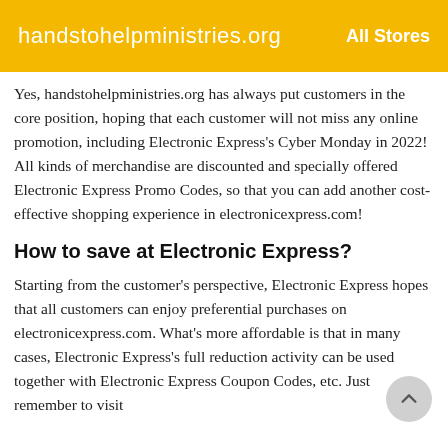handstohelpministries.org   All Stores
Yes, handstohelpministries.org has always put customers in the core position, hoping that each customer will not miss any online promotion, including Electronic Express's Cyber Monday in 2022! All kinds of merchandise are discounted and specially offered Electronic Express Promo Codes, so that you can add another cost-effective shopping experience in electronicexpress.com!
How to save at Electronic Express?
Starting from the customer's perspective, Electronic Express hopes that all customers can enjoy preferential purchases on electronicexpress.com. What's more affordable is that in many cases, Electronic Express's full reduction activity can be used together with Electronic Express Coupon Codes, etc. Just remember to visit